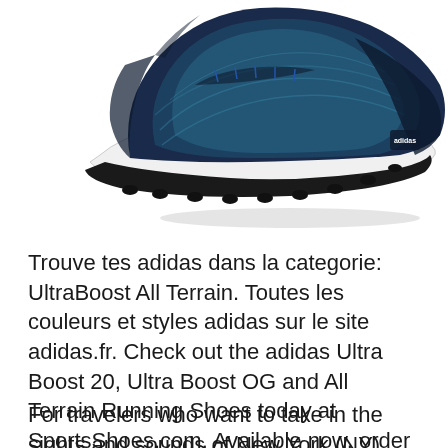[Figure (photo): A blue and black Adidas UltraBoost All Terrain running shoe with a white midsole, photographed from an angled side view on a white background.]
Trouve tes adidas dans la categorie: UltraBoost All Terrain. Toutes les couleurs et styles adidas sur le site adidas.fr. Check out the adidas Ultra Boost 20, Ultra Boost OG and All Terrain Running Shoes today at SportsShoes.com. Available now, order today.
For travelers who want to take in the sights and sounds of New York (NY), Dream Downtown